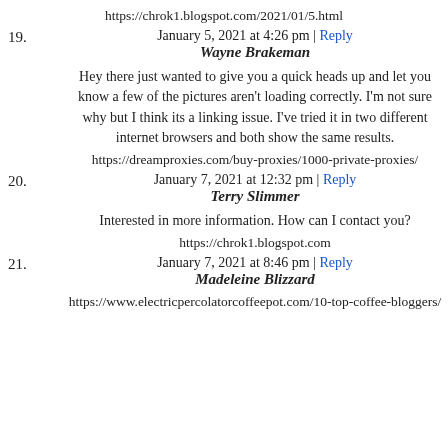https://chrok1.blogspot.com/2021/01/5.html
19. January 5, 2021 at 4:26 pm | Reply
Wayne Brakeman

Hey there just wanted to give you a quick heads up and let you know a few of the pictures aren't loading correctly. I'm not sure why but I think its a linking issue. I've tried it in two different internet browsers and both show the same results.

https://dreamproxies.com/buy-proxies/1000-private-proxies/
20. January 7, 2021 at 12:32 pm | Reply
Terry Slimmer

Interested in more information. How can I contact you?

https://chrok1.blogspot.com
21. January 7, 2021 at 8:46 pm | Reply
Madeleine Blizzard

https://www.electricpercolatorcoffeepot.com/10-top-coffee-bloggers/